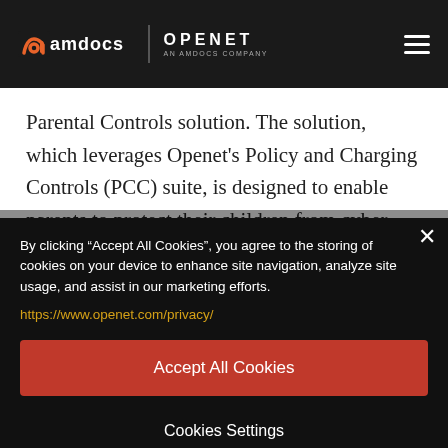[Figure (logo): Amdocs | Openet logo in header bar on dark background with hamburger menu icon on right]
Parental Controls solution. The solution, which leverages Openet’s Policy and Charging Controls (PCC) suite, is designed to enable parents to protect their children from cyber-bullying and other unsafe behavior by
By clicking “Accept All Cookies”, you agree to the storing of cookies on your device to enhance site navigation, analyze site usage, and assist in our marketing efforts.
https://www.openet.com/privacy/
Accept All Cookies
Cookies Settings